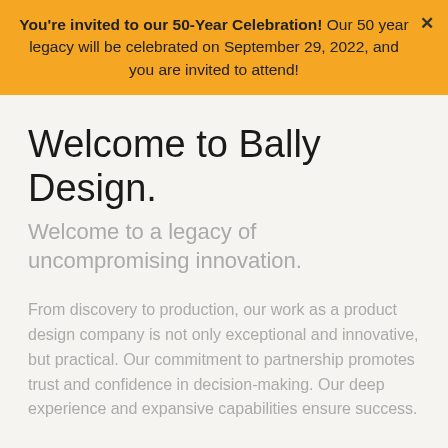You're invited to our 50-Year Celebration! Our 50 year legacy will be celebrated on September 29, 2022, and you are invited to attend!
Welcome to Bally Design.
Welcome to a legacy of uncompromising innovation.
From discovery to production, our work as a product design company is not only exceptional and innovative, but practical. Our commitment to partnership promotes trust and confidence in decision-making. Our deep experience and expansive capabilities ensure success.